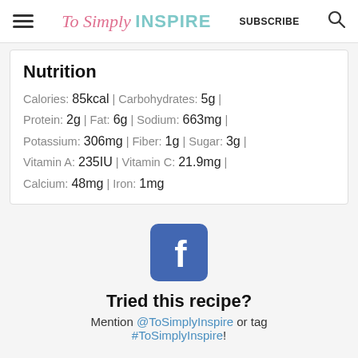To Simply INSPIRE | SUBSCRIBE
Nutrition
Calories: 85kcal | Carbohydrates: 5g | Protein: 2g | Fat: 6g | Sodium: 663mg | Potassium: 306mg | Fiber: 1g | Sugar: 3g | Vitamin A: 235IU | Vitamin C: 21.9mg | Calcium: 48mg | Iron: 1mg
[Figure (logo): Facebook icon - blue rounded square with white 'f' letter]
Tried this recipe?
Mention @ToSimplyInspire or tag #ToSimplyInspire!